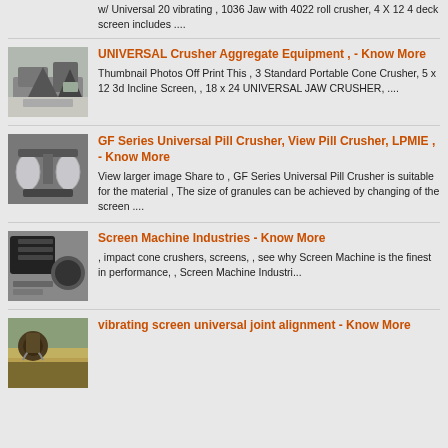w/ Universal 20 vibrating , 1036 Jaw with 4022 roll crusher, 4 X 12 4 deck screen includes ....
[Figure (photo): Industrial crusher equipment in a factory setting]
UNIVERSAL Crusher Aggregate Equipment , - Know More
Thumbnail Photos Off Print This , 3 Standard Portable Cone Crusher, 5 x 12 3d Incline Screen, , 18 x 24 UNIVERSAL JAW CRUSHER, ....
[Figure (photo): Pill crusher machine close-up]
GF Series Universal Pill Crusher, View Pill Crusher, LPMIE , - Know More
View larger image Share to , GF Series Universal Pill Crusher is suitable for the material , The size of granules can be achieved by changing of the screen ....
[Figure (photo): Screen machine parts and equipment]
Screen Machine Industries - Know More
, impact cone crushers, screens, , see why Screen Machine is the finest in performance, , Screen Machine Industri...
[Figure (photo): Worker aligning vibrating screen universal joint]
vibrating screen universal joint alignment - Know More